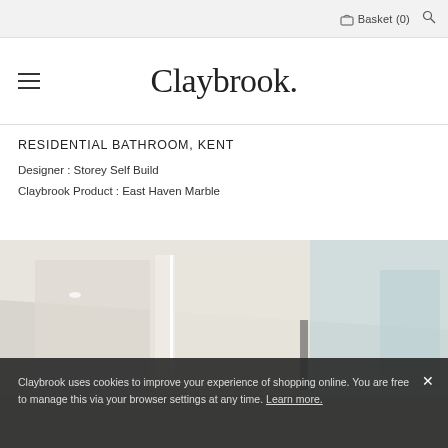Basket (0)
Claybrook.
RESIDENTIAL BATHROOM, KENT
Designer : Storey Self Build
Claybrook Product : East Haven Marble
[Figure (photo): Interior photo of a modern residential bathroom in Kent, showing white walls, recessed lighting, glass panels, and minimal design. Partially obscured by cookie consent banner.]
Claybrook uses cookies to improve your experience of shopping online. You are free to manage this via your browser settings at any time. Learn more.